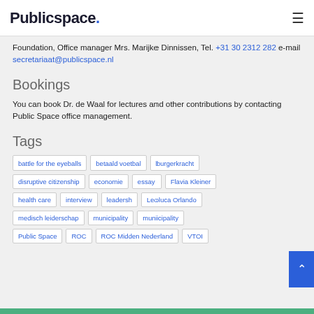Publicspace.
Foundation, Office manager Mrs. Marijke Dinnissen, Tel. +31 30 2312 282 e-mail secretariaat@publicspace.nl
Bookings
You can book Dr. de Waal for lectures and other contributions by contacting Public Space office management.
Tags
battle for the eyeballs
betaald voetbal
burgerkracht
disruptive citizenship
economie
essay
Flavia Kleiner
health care
interview
leadersh
Leoluca Orlando
medisch leiderschap
municipality
municipality
Public Space
ROC
ROC Midden Nederland
VTOI